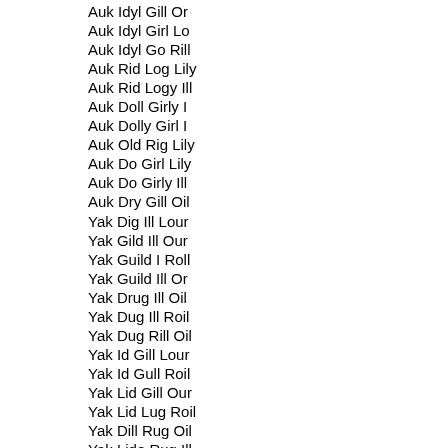Auk Idyl Gill Or
Auk Idyl Girl Lo
Auk Idyl Go Rill
Auk Rid Log Lily
Auk Rid Logy Ill
Auk Doll Girly I
Auk Dolly Girl I
Auk Old Rig Lily
Auk Do Girl Lily
Auk Do Girly Ill
Auk Dry Gill Oil
Yak Dig Ill Lour
Yak Gild Ill Our
Yak Guild I Roll
Yak Guild Ill Or
Yak Drug Ill Oil
Yak Dug Ill Roil
Yak Dug Rill Oil
Yak Id Gill Lour
Yak Id Gull Roil
Yak Lid Gill Our
Yak Lid Lug Roil
Yak Dill Rug Oil
Yak Lido Rug Ill
Yak Idol Rug Ill
Yak Lurid Go Ill
Yak Rid Gull Oil
Yak Dull Rig Oil